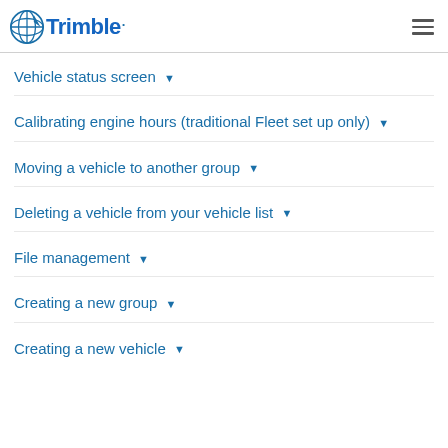[Figure (logo): Trimble logo with globe icon and blue text]
Vehicle status screen ▾
Calibrating engine hours (traditional Fleet set up only) ▾
Moving a vehicle to another group ▾
Deleting a vehicle from your vehicle list ▾
File management ▾
Creating a new group ▾
Creating a new vehicle ▾